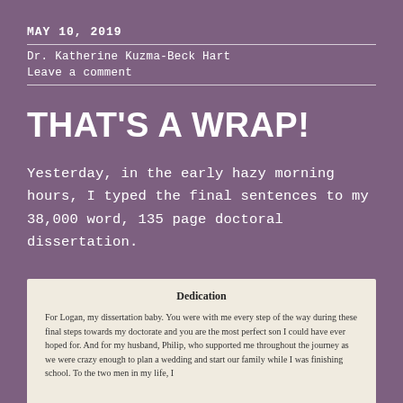MAY 10, 2019
Dr. Katherine Kuzma-Beck Hart
Leave a comment
THAT'S A WRAP!
Yesterday, in the early hazy morning hours, I typed the final sentences to my 38,000 word, 135 page doctoral dissertation.
[Figure (photo): Photo of a dissertation dedication page on cream paper. The dedication reads: 'Dedication' in bold centered text, followed by 'For Logan, my dissertation baby. You were with me every step of the way during these final steps towards my doctorate and you are the most perfect son I could have ever hoped for. And for my husband, Philip, who supported me throughout the journey as we were crazy enough to plan a wedding and start our family while I was finishing school. To the two men in my life, I']